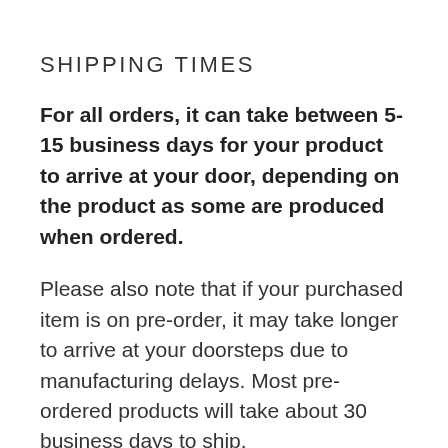SHIPPING TIMES
For all orders, it can take between 5-15 business days for your product to arrive at your door, depending on the product as some are produced when ordered.
Please also note that if your purchased item is on pre-order, it may take longer to arrive at your doorsteps due to manufacturing delays. Most pre-ordered products will take about 30 business days to ship.